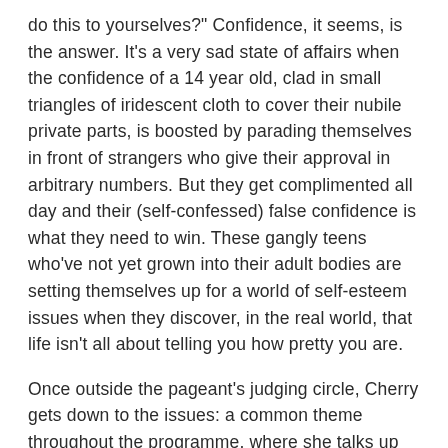do this to yourselves?" Confidence, it seems, is the answer. It's a very sad state of affairs when the confidence of a 14 year old, clad in small triangles of iridescent cloth to cover their nubile private parts, is boosted by parading themselves in front of strangers who give their approval in arbitrary numbers. But they get complimented all day and their (self-confessed) false confidence is what they need to win. These gangly teens who've not yet grown into their adult bodies are setting themselves up for a world of self-esteem issues when they discover, in the real world, that life isn't all about telling you how pretty you are.
Once outside the pageant's judging circle, Cherry gets down to the issues: a common theme throughout the programme, where she talks up the interviewee, then offers startling insight behind their backs. A confidence boost,